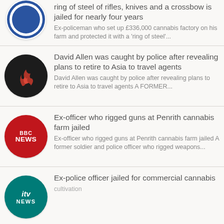ring of steel of rifles, knives and a crossbow is jailed for nearly four years | Ex-policeman who set up £336,000 cannabis factory on his farm and protected it with a 'ring of steel'...
David Allen was caught by police after revealing plans to retire to Asia to travel agents | David Allen was caught by police after revealing plans to retire to Asia to travel agents A FORMER...
Ex-officer who rigged guns at Penrith cannabis farm jailed | Ex-officer who rigged guns at Penrith cannabis farm jailed A former soldier and police officer who rigged weapons...
Ex-police officer jailed for commercial cannabis cultivation